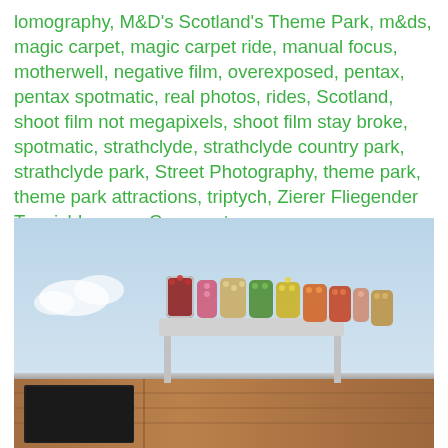lomography, M&D's Scotland's Theme Park, m&ds, magic carpet, magic carpet ride, manual focus, motherwell, negative film, overexposed, pentax, pentax spotmatic, real photos, rides, Scotland, shoot film not megapixels, shoot film stay broke, spotmatic, strathclyde, strathclyde country park, strathclyde park, Street Photography, theme park, theme park attractions, triptych, Zierer Fliegender TeppichLeave a Comment
[Figure (photo): Film photograph of a Mine Train ride sign at M&D's Scotland's Theme Park. The colourful illuminated sign with bulb letters spelling 'MINE TRAIN' sits atop a wooden structure with a dark window, set against a pale blue sky with some clouds and green trees in the background. The image has a warm, slightly overexposed film look.]